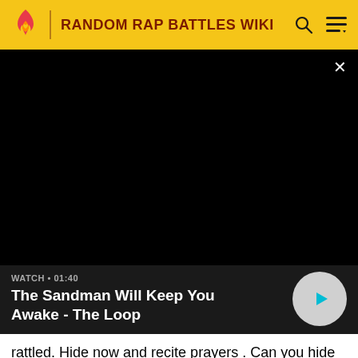RANDOM RAP BATTLES WIKI
[Figure (screenshot): Black video player area with close (×) button in top-right corner, showing a dark/black video frame]
WATCH • 01:40
The Sandman Will Keep You Awake - The Loop
rattled. Hide now and recite prayers . Can you hide ? NO ! Can you run ? NO ! Nowhere you can GO ! Death knocking at your DOOR ! Verse 2 Freddy: In my world , You're a jester. Just a copy , I'm the mentor. Visionary . An inventor Of your worst fears , Come and enter . Clown head , Meet